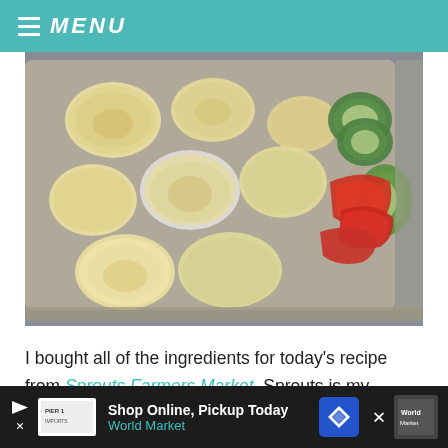≡ MENU
[Figure (photo): A baking sheet with roasted halved baby potatoes (golden/cream colored), sliced zucchini, and diced red bell peppers on a gray background.]
I bought all of the ingredients for today's recipe from Sprouts Farmers Market. Sprouts is my favorite place to buy produce for several reasons: it tends to last
[Figure (infographic): Advertisement bar: Shop Online, Pickup Today - World Market, with navigation icon and close button.]